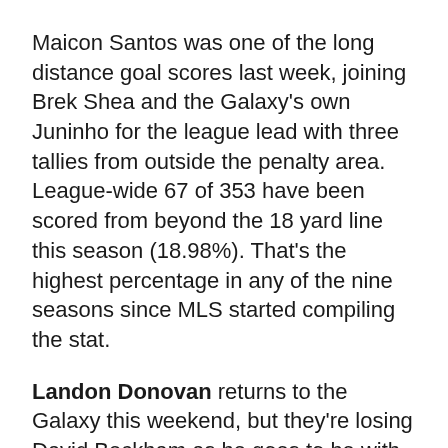Maicon Santos was one of the long distance goal scores last week, joining Brek Shea and the Galaxy's own Juninho for the league lead with three tallies from outside the penalty area. League-wide 67 of 353 have been scored from beyond the 18 yard line this season (18.98%). That's the highest percentage in any of the nine seasons since MLS started compiling the stat.
Landon Donovan returns to the Galaxy this weekend, but they're losing David Beckham as he goes to be with his wife Victoria who is likely giving birth this weekend the official word is he has a stress fracture on his spine. Juninho will get another chance to be creative without the shadow of two world famous players.